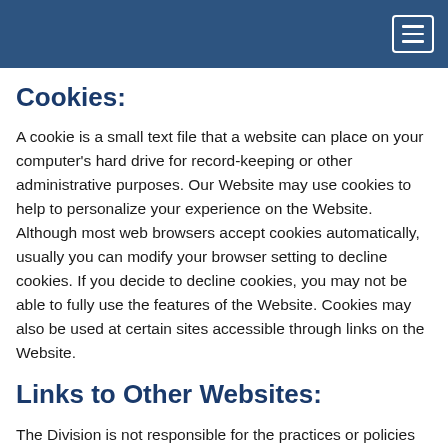Cookies:
A cookie is a small text file that a website can place on your computer's hard drive for record-keeping or other administrative purposes. Our Website may use cookies to help to personalize your experience on the Website. Although most web browsers accept cookies automatically, usually you can modify your browser setting to decline cookies. If you decide to decline cookies, you may not be able to fully use the features of the Website. Cookies may also be used at certain sites accessible through links on the Website.
Links to Other Websites:
The Division is not responsible for the practices or policies of the websites linked to or from the Website, including without limitation the browsers or any other